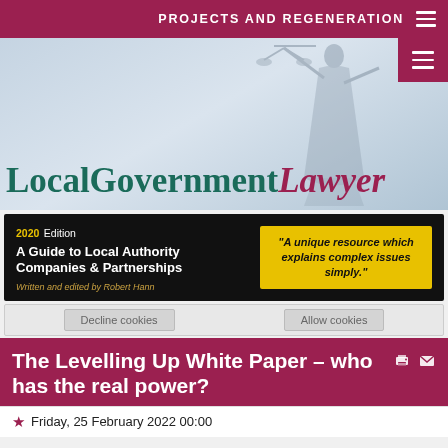PROJECTS AND REGENERATION
[Figure (logo): LocalGovernmentLawyer website banner with Lady Justice statue silhouette in background, teal and crimson logo text]
[Figure (infographic): Book advertisement: 2020 Edition A Guide to Local Authority Companies & Partnerships by Robert Hann, with yellow quote box: A unique resource which explains complex issues simply.]
Decline cookies | Allow cookies
The Levelling Up White Paper – who has the real power?
Friday, 25 February 2022 00:00